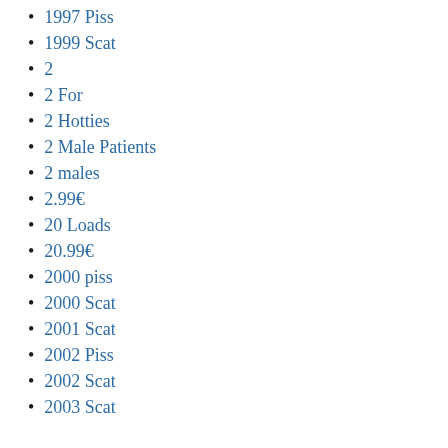1997 Piss
1999 Scat
2
2 For
2 Hotties
2 Male Patients
2 males
2.99€
20 Loads
20.99€
2000 piss
2000 Scat
2001 Scat
2002 Piss
2002 Scat
2003 Scat